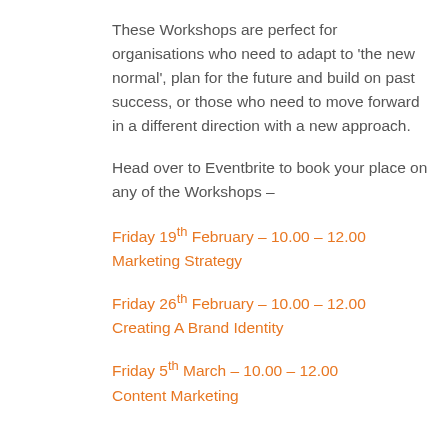These Workshops are perfect for organisations who need to adapt to 'the new normal', plan for the future and build on past success, or those who need to move forward in a different direction with a new approach.
Head over to Eventbrite to book your place on any of the Workshops –
Friday 19th February – 10.00 – 12.00
Marketing Strategy
Friday 26th February – 10.00 – 12.00
Creating A Brand Identity
Friday 5th March – 10.00 – 12.00
Content Marketing